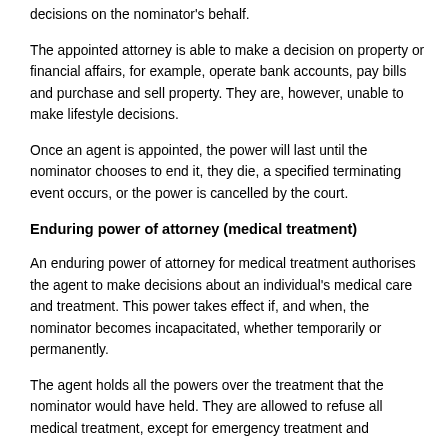decisions on the nominator's behalf.
The appointed attorney is able to make a decision on property or financial affairs, for example, operate bank accounts, pay bills and purchase and sell property. They are, however, unable to make lifestyle decisions.
Once an agent is appointed, the power will last until the nominator chooses to end it, they die, a specified terminating event occurs, or the power is cancelled by the court.
Enduring power of attorney (medical treatment)
An enduring power of attorney for medical treatment authorises the agent to make decisions about an individual's medical care and treatment. This power takes effect if, and when, the nominator becomes incapacitated, whether temporarily or permanently.
The agent holds all the powers over the treatment that the nominator would have held. They are allowed to refuse all medical treatment, except for emergency treatment and